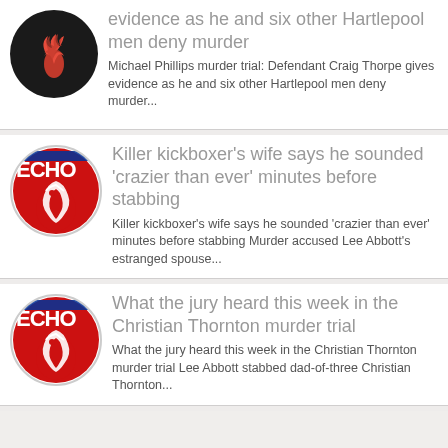evidence as he and six other Hartlepool men deny murder — Michael Phillips murder trial: Defendant Craig Thorpe gives evidence as he and six other Hartlepool men deny murder...
Killer kickboxer's wife says he sounded 'crazier than ever' minutes before stabbing — Killer kickboxer's wife says he sounded 'crazier than ever' minutes before stabbing Murder accused Lee Abbott's estranged spouse...
What the jury heard this week in the Christian Thornton murder trial — What the jury heard this week in the Christian Thornton murder trial Lee Abbott stabbed dad-of-three Christian Thornton...